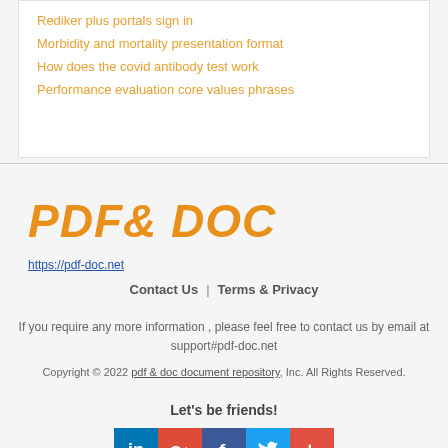Rediker plus portals sign in
Morbidity and mortality presentation format
How does the covid antibody test work
Performance evaluation core values phrases
[Figure (logo): PDF & DOC logo in bold orange italic text]
https://pdf-doc.net
Contact Us | Terms & Privacy
If you require any more information , please feel free to contact us by email at support#pdf-doc.net
Copyright © 2022 pdf & doc document repository, Inc. All Rights Reserved.
Let's be friends!
[Figure (infographic): Social media icons: LinkedIn, Google+, Facebook, Twitter, More]